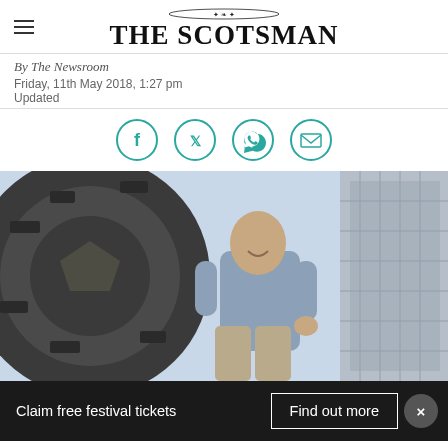THE SCOTSMAN
By The Newsroom
Friday, 11th May 2018, 1:27 pm
Updated
[Figure (infographic): Social share icons: Facebook, Twitter, WhatsApp, Email — teal outlined circles]
[Figure (photo): Low-angle upward shot of a man in a light blue sweater and khaki trousers standing next to a large tyre tread, with a building and sky in the background]
Claim free festival tickets
Find out more